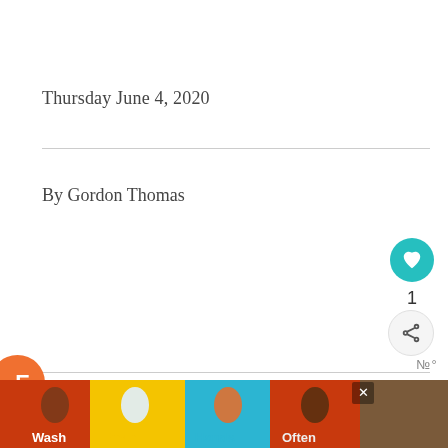Thursday June 4, 2020
By Gordon Thomas
1
Be the First to Comment!
[Figure (infographic): Wash Your Hands Often – public health advertisement banner with hand-washing illustrations and colorful background]
WHAT'S NEXT → Vanguard VEO RANGE T 45M